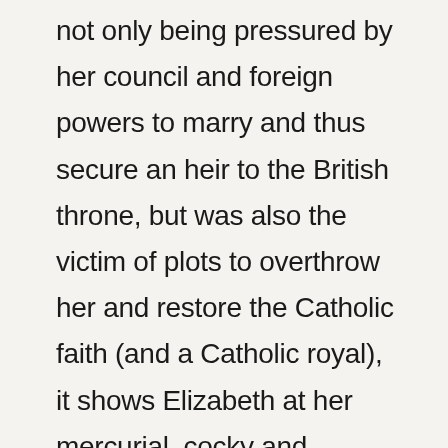not only being pressured by her council and foreign powers to marry and thus secure an heir to the British throne, but was also the victim of plots to overthrow her and restore the Catholic faith (and a Catholic royal), it shows Elizabeth at her mercurial, cocky and overbearing best – at least on the surface. Confident in her youth, beauty and brains, she wields authority as though born to it, when in reality she was never intended to lead the country, let